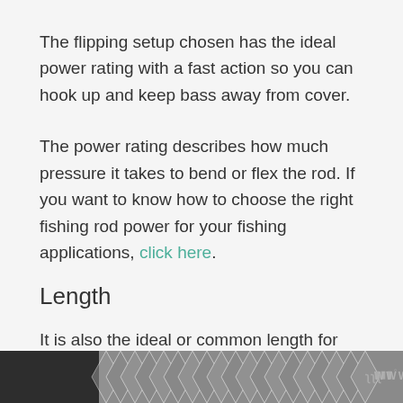The flipping setup chosen has the ideal power rating with a fast action so you can hook up and keep bass away from cover.
The power rating describes how much pressure it takes to bend or flex the rod. If you want to know how to choose the right fishing rod power for your fishing applications, click here.
Length
It is also the ideal or common length for flipping bait...
[Figure (other): Dark bottom bar with geometric hexagon/chevron pattern and a small logo in the bottom right corner]